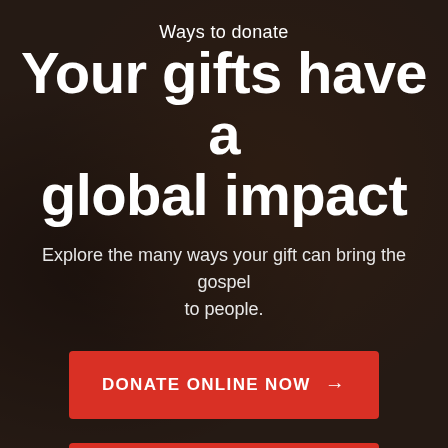Ways to donate
Your gifts have a global impact
Explore the many ways your gift can bring the gospel to people.
[Figure (other): Red button: DONATE ONLINE NOW with arrow]
[Figure (other): Red button: GIVE MONTHLY NOW with arrow]